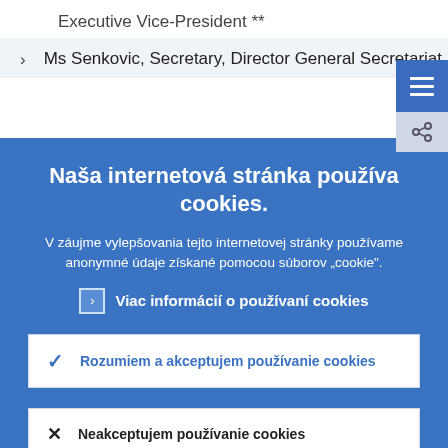Executive Vice-President **
Ms Senkovic, Secretary, Director General Secretariat
Naša internetová stránka používa cookies.
V záujme vylepšovania tejto internetovej stránky používame anonymné údaje získané pomocou súborov „cookie".
> Viac informácií o používaní cookies
✓ Rozumiem a akceptujem používanie cookies
✕ Neakceptujem používanie cookies